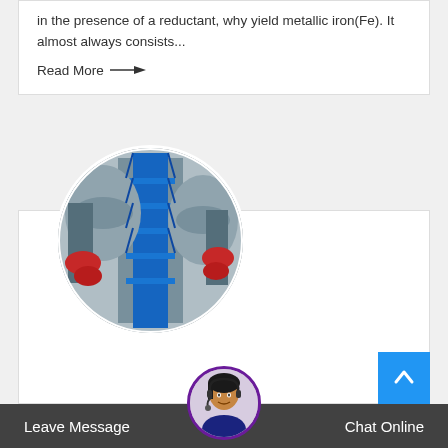in the presence of a reductant, why yield metallic iron(Fe). It almost always consists...
Read More →
[Figure (photo): Circular-cropped photo of industrial crushing machinery — large cylindrical vessels, blue steel scaffolding/framework, viewed from below]
Euros Crusher Manufacturer, Laboratory Small Crusher
high quality medium go... mining equipment sell at a loss in Philadelphia North America.
[Figure (photo): Customer service avatar — woman with headset, circular purple-bordered avatar, part of chat widget]
Leave Message
Chat Online